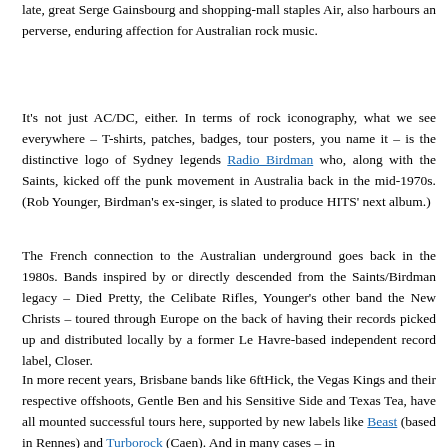late, great Serge Gainsbourg and shopping-mall staples Air, also harbours an perverse, enduring affection for Australian rock music.
It's not just AC/DC, either. In terms of rock iconography, what we see everywhere – T-shirts, patches, badges, tour posters, you name it – is the distinctive logo of Sydney legends Radio Birdman who, along with the Saints, kicked off the punk movement in Australia back in the mid-1970s. (Rob Younger, Birdman's ex-singer, is slated to produce HITS' next album.)
The French connection to the Australian underground goes back in the 1980s. Bands inspired by or directly descended from the Saints/Birdman legacy – Died Pretty, the Celibate Rifles, Younger's other band the New Christs – toured through Europe on the back of having their records picked up and distributed locally by a former Le Havre-based independent record label, Closer.
In more recent years, Brisbane bands like 6ftHick, the Vegas Kings and their respective offshoots, Gentle Ben and his Sensitive Side and Texas Tea, have all mounted successful tours here, supported by new labels like Beast (based in Rennes) and Turborock (Caen). And in many cases – in